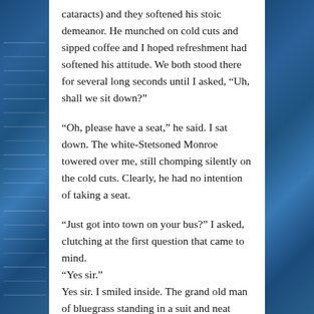cataracts) and they softened his stoic demeanor. He munched on cold cuts and sipped coffee and I hoped refreshment had softened his attitude. We both stood there for several long seconds until I asked, “Uh, shall we sit down?”
“Oh, please have a seat,” he said. I sat down. The white-Stetsoned Monroe towered over me, still chomping silently on the cold cuts. Clearly, he had no intention of taking a seat.
“Just got into town on your bus?” I asked, clutching at the first question that came to mind.
“Yes sir.”
Yes sir. I smiled inside. The grand old man of bluegrass standing in a suit and neat dark tie proffering the term” sir” to a blue-jeaned, tennis-shoed reporter no older than his grandson. What was in your mind when you came up with the idea of bluegrass, I asked him. His answer reflected his notoriously reclusive nature.